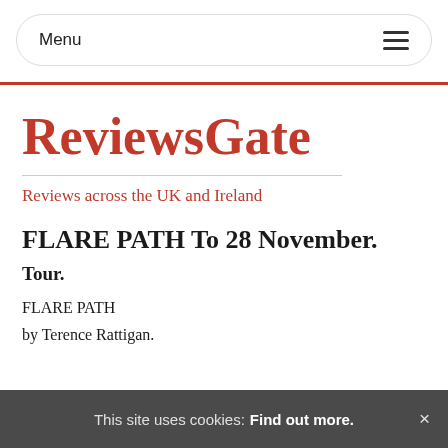Menu
ReviewsGate
Reviews across the UK and Ireland
FLARE PATH To 28 November.
Tour.
FLARE PATH
by Terence Rattigan.
This site uses cookies: Find out more. ×